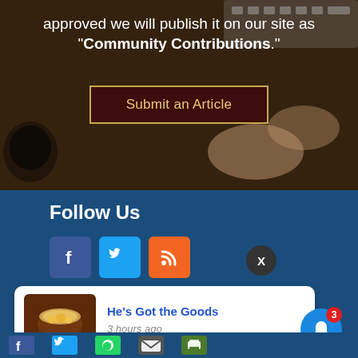approved we will publish it on our site as “Community Contributions.”
[Figure (screenshot): Dark overlay hero image showing hands on a laptop keyboard with a coffee cup, with text and submit button overlay]
Submit an Article
Follow Us
[Figure (illustration): Social media icons: Facebook (blue), Twitter (light blue), RSS feed (orange)]
[Figure (screenshot): Notification card popup with thumbnail image of treasure chest and text 'He's Got the Goods' and '3 hours ago']
Contact Us